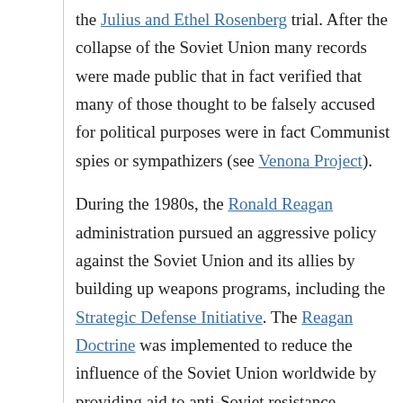the Julius and Ethel Rosenberg trial. After the collapse of the Soviet Union many records were made public that in fact verified that many of those thought to be falsely accused for political purposes were in fact Communist spies or sympathizers (see Venona Project).
During the 1980s, the Ronald Reagan administration pursued an aggressive policy against the Soviet Union and its allies by building up weapons programs, including the Strategic Defense Initiative. The Reagan Doctrine was implemented to reduce the influence of the Soviet Union worldwide by providing aid to anti-Soviet resistance movements, including the Contras in Nicaragua and the Mujahideens in Afghanistan. The aid to the King Air...